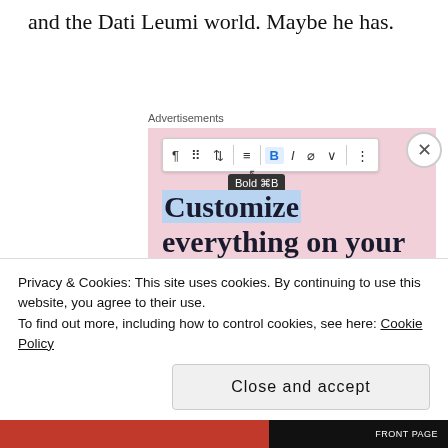and the Dati Leumi world. Maybe he has.
Advertisements
[Figure (screenshot): WordPress.com advertisement showing a site editor interface. Toolbar with Bold button highlighted, tooltip showing 'Bold ⌘B', large heading text 'Customize everything on your site with the new Site Editor.' with 'Customize' highlighted in blue, a dark purple 'Start Today' button, and WordPress.com logo in bottom right with pink circle accent.]
Privacy & Cookies: This site uses cookies. By continuing to use this website, you agree to their use.
To find out more, including how to control cookies, see here: Cookie Policy
Close and accept